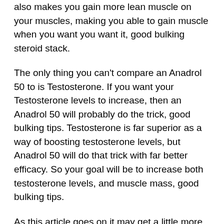also makes you gain more lean muscle on your muscles, making you able to gain muscle when you want you want it, good bulking steroid stack.
The only thing you can't compare an Anadrol 50 to is Testosterone. If you want your Testosterone levels to increase, then an Anadrol 50 will probably do the trick, good bulking tips. Testosterone is far superior as a way of boosting testosterone levels, but Anadrol 50 will do that trick with far better efficacy. So your goal will be to increase both testosterone levels, and muscle mass, good bulking tips.
As this article goes on it may get a little more elaborate, but I will do my best to keep them brief and to the point.
Testosterone increases are very much